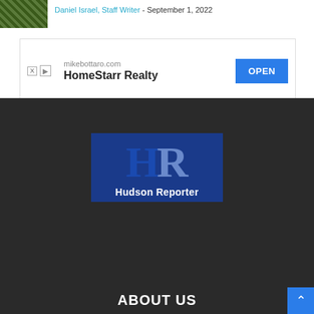[Figure (photo): Thumbnail photo showing green foliage/nature image]
Daniel Israel, Staff Writer - September 1, 2022
[Figure (screenshot): Advertisement banner: mikebottaro.com HomeStarr Realty with OPEN button]
[Figure (logo): Hudson Reporter logo - HR letters in blue on dark blue background with text 'Hudson Reporter']
ABOUT US